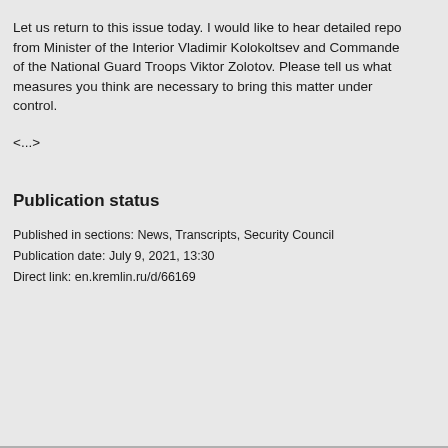Let us return to this issue today. I would like to hear detailed reports from Minister of the Interior Vladimir Kolokoltsev and Commander of the National Guard Troops Viktor Zolotov. Please tell us what measures you think are necessary to bring this matter under control.
<...>
Publication status
Published in sections: News, Transcripts, Security Council
Publication date: July 9, 2021, 13:30
Direct link: en.kremlin.ru/d/66169